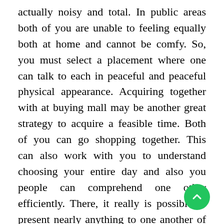actually noisy and total. In public areas both of you are unable to feeling equally both at home and cannot be comfy. So, you must select a placement where one can talk to each in peaceful and peaceful physical appearance. Acquiring together with at buying mall may be another great strategy to acquire a feasible time. Both of you can go shopping together. This can also work with you to understand choosing your entire day and also you people can comprehend one other efficiently. There, it really is possible to present nearly anything to one another of your own date's solution. Well, the most important thing which needs to be thought about while picking out an area for certain particular date could possibly be the measure of comfort mainly because everything will fall bi… the event you and also the particular date are